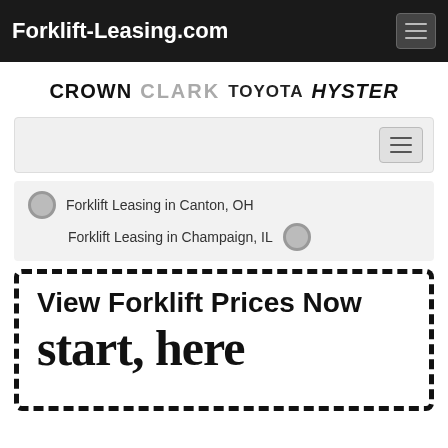Forklift-Leasing.com
[Figure (logo): Brand logos: Crown, Clark, Toyota, Hyster]
[Figure (screenshot): Secondary navigation bar with hamburger menu button]
Forklift Leasing in Canton, OH   Forklift Leasing in Champaign, IL
[Figure (infographic): Dashed border CTA box with text 'View Forklift Prices Now' and handwritten 'start here']